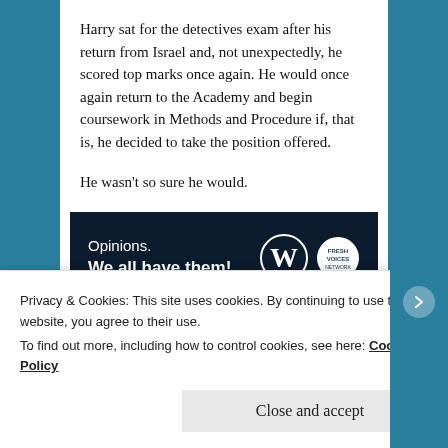Harry sat for the detectives exam after his return from Israel and, not unexpectedly, he scored top marks once again. He would once again return to the Academy and begin coursework in Methods and Procedure if, that is, he decided to take the position offered.
He wasn't so sure he would.
[Figure (other): Advertisement banner with dark navy background. Left side reads 'Opinions. We all have them!' in white text. Right side shows WordPress logo (W in circle) and Fresh Voices logo (circular badge).]
Privacy & Cookies: This site uses cookies. By continuing to use this website, you agree to their use.
To find out more, including how to control cookies, see here: Cookie Policy
Close and accept